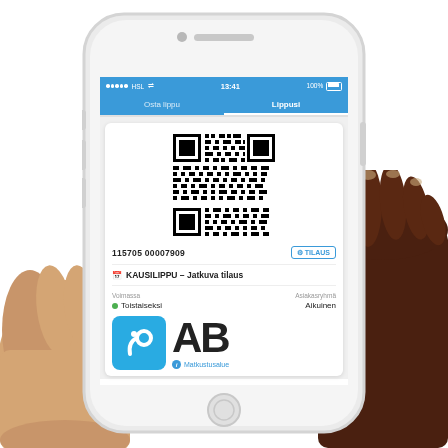[Figure (photo): A hand holding a white iPhone displaying the HSL (Helsinki Regional Transport) mobile app showing a season pass (Kausilippu) with QR code, ticket number 115705 00007909, KAUSILIPPU - Jatkuva tilaus (continuous subscription), validity 'Toistaiseksi' (indefinitely) for customer group 'Aikuinen' (Adult), travel zone AB, with a blue HSL logo in the bottom left.]